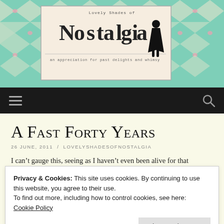[Figure (illustration): Blog header banner with teal/mint diamond harlequin pattern background, decorative logo reading 'Lovely Shades of Nostalgia' with subtitle 'an appreciation for past delights and whimsy', and a black silhouette of a woman in a 1950s dress]
Navigation bar with hamburger menu icon and search icon on dark background
A Fast Forty Years
26 JUNE, 2011  /  LOVELYSHADESOFNOSTALGIA
I can't gauge this, seeing as I haven't even been alive for that
Privacy & Cookies: This site uses cookies. By continuing to use this website, you agree to their use.
To find out more, including how to control cookies, see here:
Cookie Policy
nicest people alive, because it seems so rare for people to